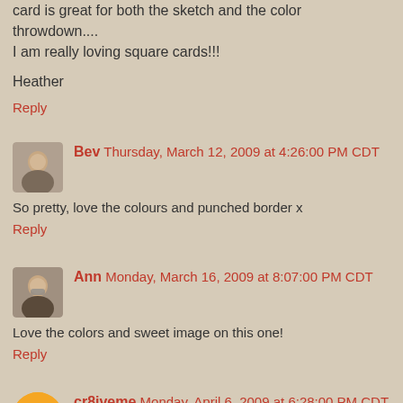...card is great for both the sketch and the color throwdown.... I am really loving square cards!!!
Heather
Reply
Bev  Thursday, March 12, 2009 at 4:26:00 PM CDT
So pretty, love the colours and punched border x
Reply
Ann  Monday, March 16, 2009 at 8:07:00 PM CDT
Love the colors and sweet image on this one!
Reply
cr8iveme  Monday, April 6, 2009 at 6:28:00 PM CDT
what a sweet card.